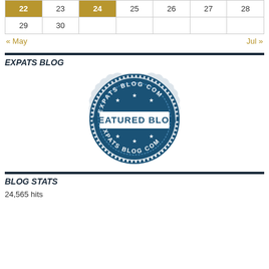|  |  |  |  |  |  |  |
| --- | --- | --- | --- | --- | --- | --- |
| 22 | 23 | 24 | 25 | 26 | 27 | 28 |
| 29 | 30 |  |  |  |  |  |
« May    Jul »
EXPATS BLOG
[Figure (logo): Expats Blog .com Featured Blog badge — circular stamp logo in dark blue with text 'EXPATS BLOG COM' around the top, 'FEATURED BLOG' in the center, 'EXPATS BLOG COM' around the bottom, stars and decorative border]
BLOG STATS
24,565 hits